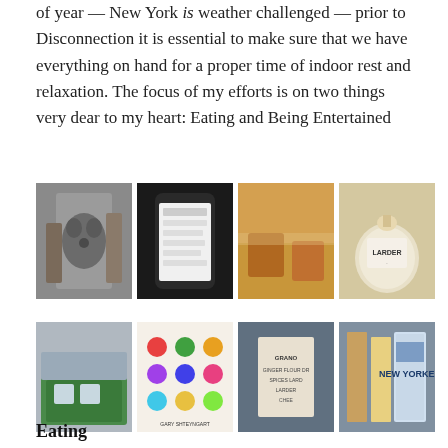of year — New York is weather challenged — prior to Disconnection it is essential to make sure that we have everything on hand for a proper time of indoor rest and relaxation. The focus of my efforts is on two things very dear to my heart: Eating and Being Entertained
[Figure (photo): A dog standing indoors near metal canisters]
[Figure (photo): A smartphone showing a list on its screen]
[Figure (photo): Several jars of preserves/honey on a windowsill]
[Figure (photo): A bag tagged with 'LARDER' label]
[Figure (photo): A green storage container on a shelf]
[Figure (photo): Colorful sticker dots book by Gary Shteyngart]
[Figure (photo): A paper bag with text including 'LARDER' and flour/spices]
[Figure (photo): Stack of magazines including The New Yorker]
Eating